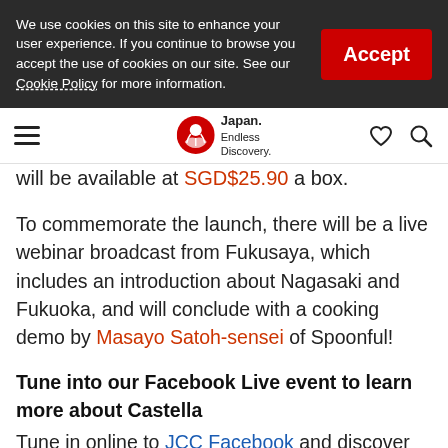We use cookies on this site to enhance your user experience. If you continue to browse you accept the use of cookies on our site. See our Cookie Policy for more information.
Accept
Japan. Endless Discovery. [navigation]
will be available at SGD$25.90 a box.
To commemorate the launch, there will be a live webinar broadcast from Fukusaya, which includes an introduction about Nagasaki and Fukuoka, and will conclude with a cooking demo by Masayo Satoh-sensei of Spoonful!
Tune into our Facebook Live event to learn more about Castella
Tune in online to JCC Facebook and discover more about Kyushu (Fukuoka, Nagasaki) and the signature Castella. There will also be a special giveaway of Fukusaya Castella cakes, tote bags, and mobile chargers from JNTO to lucky viewers.